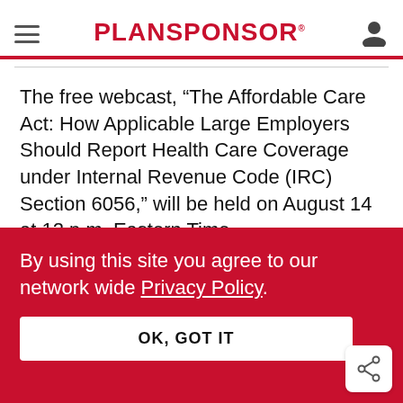PLANSPONSOR
The free webcast, “The Affordable Care Act: How Applicable Large Employers Should Report Health Care Coverage under Internal Revenue Code (IRC) Section 6056,” will be held on August 14 at 12 p.m. Eastern Time.
By using this site you agree to our network wide Privacy Policy.
OK, GOT IT